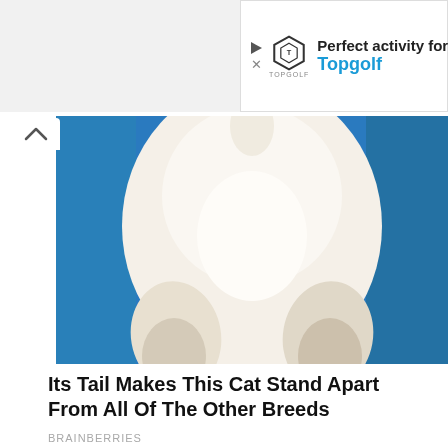[Figure (screenshot): Advertisement banner for Topgolf: shows Topgolf shield logo, text 'Perfect activity for e' and 'Topgolf' in blue, with play and close controls]
[Figure (photo): Close-up photo of the underside/tail area of a fluffy white and tan cat against a bright blue background]
Its Tail Makes This Cat Stand Apart From All Of The Other Breeds
BRAINBERRIES
[Figure (photo): Photo of a woman in a black swimsuit lying on a paddleboard or pool edge, with ocean and cloudy sunset sky in the background]